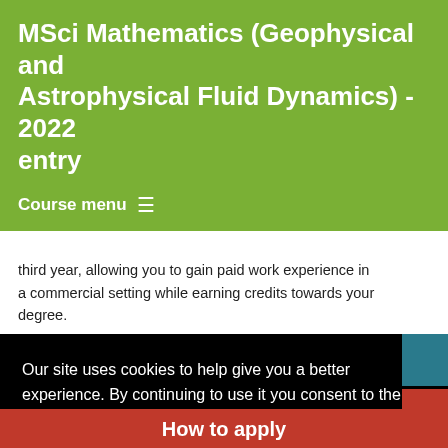MSci Mathematics (Geophysical and Astrophysical Fluid Dynamics) - 2022 entry
Course menu
third year, allowing you to gain paid work experience in a commercial setting while earning credits towards your degree.
Our site uses cookies to help give you a better experience. By continuing to use it you consent to the use of cookies as set out in our privacy policy
Close
How to apply